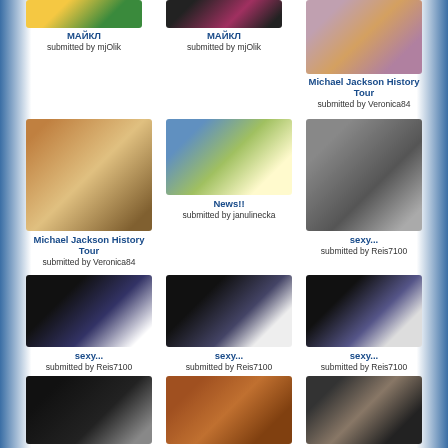[Figure (photo): Thumbnail image - МАЙКЛ stage performance]
МАЙКЛ
submitted by mjOlik
[Figure (photo): Thumbnail image - МАЙКЛ stage performance 2]
МАЙКЛ
submitted by mjOlik
[Figure (photo): Thumbnail image - Michael Jackson History Tour stage]
Michael Jackson History Tour
submitted by Veronica84
[Figure (photo): Thumbnail - Michael Jackson History Tour performer]
Michael Jackson History Tour
submitted by Veronica84
[Figure (photo): Thumbnail - News!! table with people]
News!!
submitted by janulinecka
[Figure (photo): Thumbnail - sexy... young Michael Jackson portrait]
sexy...
submitted by Reis7100
[Figure (photo): Thumbnail - sexy... performer on stage]
sexy...
submitted by Reis7100
[Figure (photo): Thumbnail - sexy... performer on stage 2]
sexy...
submitted by Reis7100
[Figure (photo): Thumbnail - sexy... performer on stage 3]
sexy...
submitted by Reis7100
[Figure (photo): Thumbnail - feet/shoes on stage]
[Figure (photo): Thumbnail - photo collage polaroids]
[Figure (photo): Thumbnail - exhibition/gallery room]